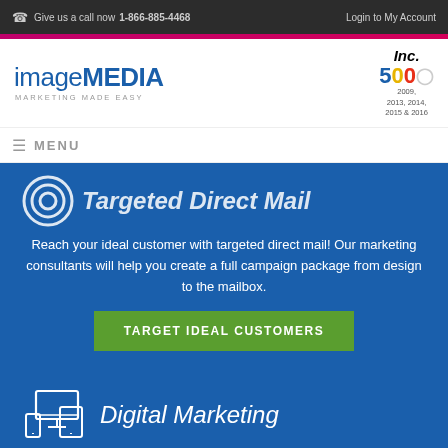Give us a call now 1-866-885-4468  Login to My Account
[Figure (logo): imageMEDIA logo with tagline MARKETING MADE EASY and Inc. 500 badge for 2009, 2013, 2014, 2015 & 2016]
MENU
Targeted Direct Mail
Reach your ideal customer with targeted direct mail! Our marketing consultants will help you create a full campaign package from design to the mailbox.
TARGET IDEAL CUSTOMERS
Digital Marketing
Your business can now affordably reach customers online and